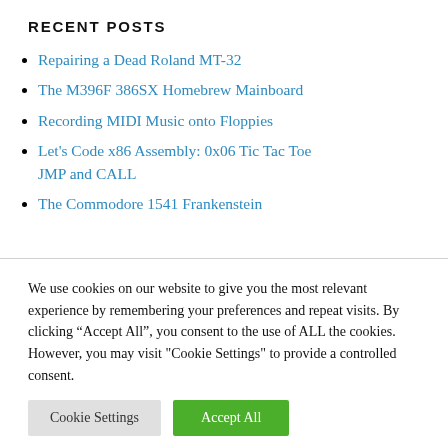RECENT POSTS
Repairing a Dead Roland MT-32
The M396F 386SX Homebrew Mainboard
Recording MIDI Music onto Floppies
Let's Code x86 Assembly: 0x06 Tic Tac Toe JMP and CALL
The Commodore 1541 Frankenstein
We use cookies on our website to give you the most relevant experience by remembering your preferences and repeat visits. By clicking “Accept All”, you consent to the use of ALL the cookies. However, you may visit "Cookie Settings" to provide a controlled consent.